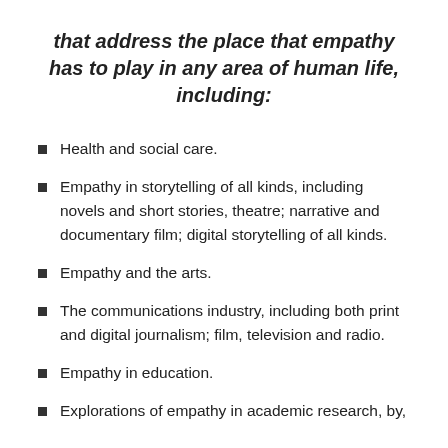that address the place that empathy has to play in any area of human life, including:
Health and social care.
Empathy in storytelling of all kinds, including novels and short stories, theatre; narrative and documentary film; digital storytelling of all kinds.
Empathy and the arts.
The communications industry, including both print and digital journalism; film, television and radio.
Empathy in education.
Explorations of empathy in academic research, by,